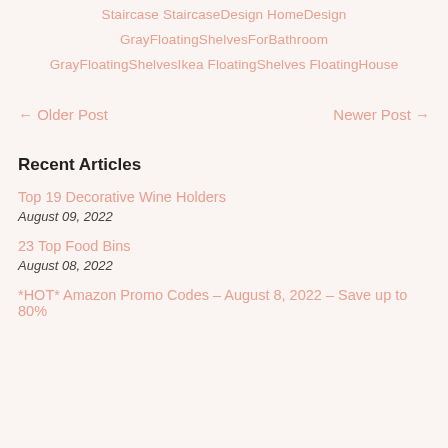Staircase StaircaseDesign HomeDesign GrayFloatingShelvesForBathroom GrayFloatingShelvesIkea FloatingShelves FloatingHouse
← Older Post    Newer Post →
Recent Articles
Top 19 Decorative Wine Holders
August 09, 2022
23 Top Food Bins
August 08, 2022
*HOT* Amazon Promo Codes – August 8, 2022 – Save up to 80%